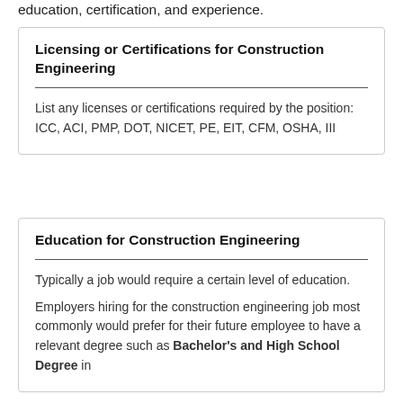education, certification, and experience.
Licensing or Certifications for Construction Engineering
List any licenses or certifications required by the position: ICC, ACI, PMP, DOT, NICET, PE, EIT, CFM, OSHA, III
Education for Construction Engineering
Typically a job would require a certain level of education.
Employers hiring for the construction engineering job most commonly would prefer for their future employee to have a relevant degree such as Bachelor's and High School Degree in